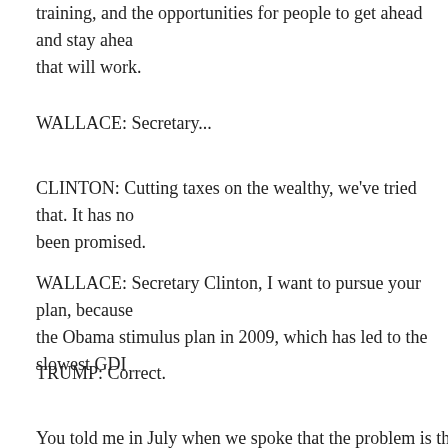training, and the opportunities for people to get ahead and stay ahead that will work.
WALLACE: Secretary...
CLINTON: Cutting taxes on the wealthy, we've tried that. It has not been promised.
WALLACE: Secretary Clinton, I want to pursue your plan, because the Obama stimulus plan in 2009, which has led to the slowest GDP
TRUMP: Correct.
WALLACE: Thank you, sir.
You told me in July when we spoke that the problem is that Preside